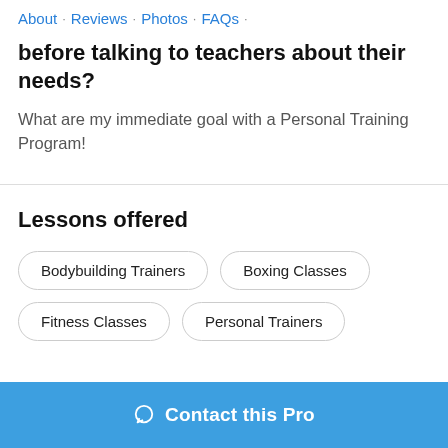About · Reviews · Photos · FAQs ·
before talking to teachers about their needs?
What are my immediate goal with a Personal Training Program!
Lessons offered
Bodybuilding Trainers
Boxing Classes
Fitness Classes
Personal Trainers
Contact this Pro